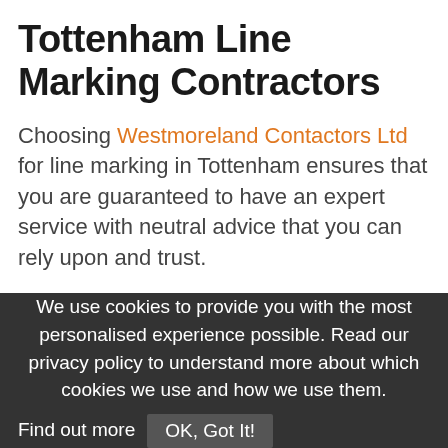Tottenham Line Marking Contractors
Choosing Westmoreland Contactors Ltd for line marking in Tottenham ensures that you are guaranteed to have an expert service with neutral advice that you can rely upon and trust.
With depots and teams based around the UK, we can offer a speedy, cost effective and professional road marking service wherever you are in Tottenham or the rest of the UK.
We use cookies to provide you with the most personalised experience possible. Read our privacy policy to understand more about which cookies we use and how we use them. Find out more  OK, Got It!